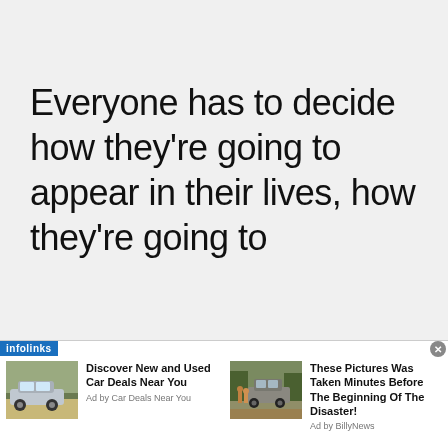Everyone has to decide how they're going to appear in their lives, how they're going to
[Figure (other): Infolinks advertisement bar at the bottom with two ad units: left ad shows a car (Ford Explorer type) with headline 'Discover New and Used Car Deals Near You' by Car Deals Near You; right ad shows a car on a muddy road with headline 'These Pictures Was Taken Minutes Before The Beginning Of The Disaster!' by BillyNews. A close button (x) appears top-right.]